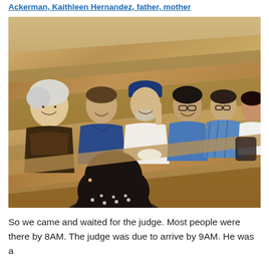Ackerman, Kaithleen Hernandez, father, mother
[Figure (photo): Group of people sitting in wooden courtroom pews, smiling at camera. Six adults visible: a woman with white hair on the left in a patterned top, a man in a blue shirt, a man in a white shirt and blue cap, a woman in a blue vest with glasses, a man in a blue striped shirt with glasses, and a woman in a white sleeveless top. A person with dark hair is visible in the foreground from behind.]
So we came and waited for the judge. Most people were there by 8AM. The judge was due to arrive by 9AM. He was a